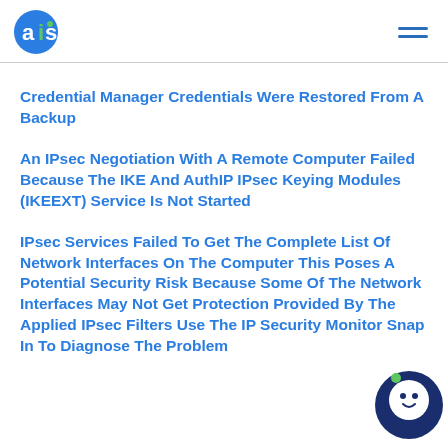ais (logo) | navigation menu
Credential Manager Credentials Were Restored From A Backup
An IPsec Negotiation With A Remote Computer Failed Because The IKE And AuthIP IPsec Keying Modules (IKEEXT) Service Is Not Started
IPsec Services Failed To Get The Complete List Of Network Interfaces On The Computer This Poses A Potential Security Risk Because Some Of The Network Interfaces May Not Get Protection Provided By The Applied IPsec Filters Use The IP Security Monitor Snap In To Diagnose The Problem